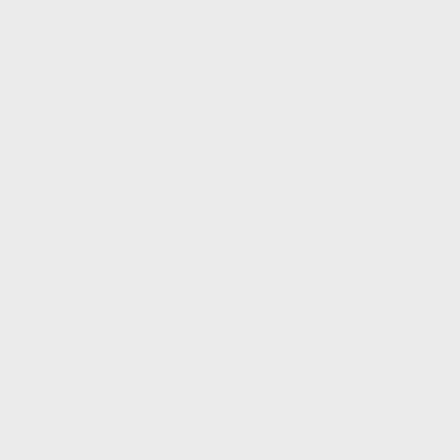Procedure Act, 27 FORDHAM ENVTL. L. REV. 207 (2016)
Daniel A. Farber & Anne Joseph O'Connell, The Lost
Rulemaking Promise: Admin. Law and Legal Culture in the 1960s and 1970s, 53 ADMIN. L. REV. 1139 (2001)